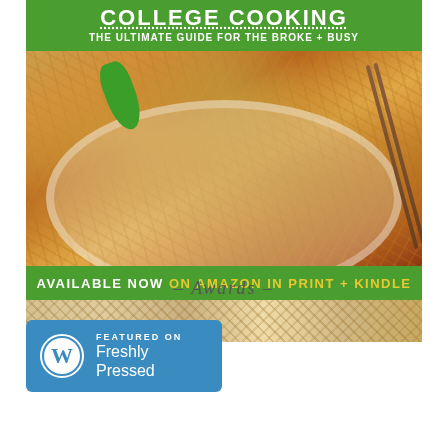[Figure (photo): College Cooking book advertisement banner showing ramen noodles in a bowl with chopsticks and green pepper, with green banners. Text reads: COLLEGE COOKING THE ULTIMATE GUIDE FOR THE BROKE + BUSY. AVAILABLE NOW ON AMAZON IN PRINT + KINDLE.]
- Awards -
[Figure (logo): WordPress Freshly Pressed badge - blue rectangle with WordPress W logo and text FEATURED ON Freshly Pressed]